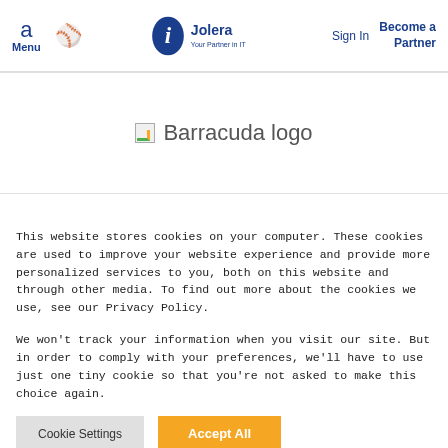Menu | Search | Jolera Your Partner in IT | Sign In | Become a Partner
[Figure (logo): Barracuda logo placeholder image]
This website stores cookies on your computer. These cookies are used to improve your website experience and provide more personalized services to you, both on this website and through other media. To find out more about the cookies we use, see our Privacy Policy.
We won't track your information when you visit our site. But in order to comply with your preferences, we'll have to use just one tiny cookie so that you're not asked to make this choice again.